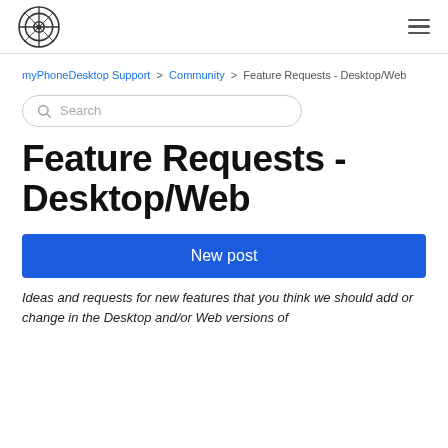myPhoneDesktop logo and menu
myPhoneDesktop Support > Community > Feature Requests - Desktop/Web
Search
Feature Requests - Desktop/Web
New post
Ideas and requests for new features that you think we should add or change in the Desktop and/or Web versions of